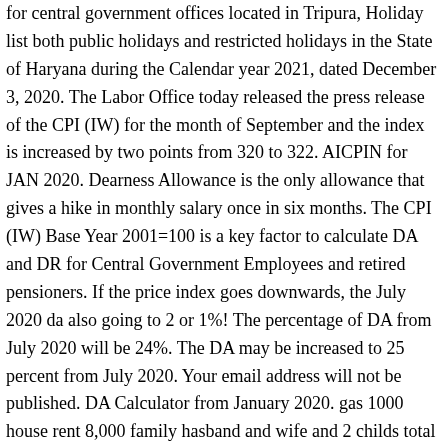for central government offices located in Tripura, Holiday list both public holidays and restricted holidays in the State of Haryana during the Calendar year 2021, dated December 3, 2020. The Labor Office today released the press release of the CPI (IW) for the month of September and the index is increased by two points from 320 to 322. AICPIN for JAN 2020. Dearness Allowance is the only allowance that gives a hike in monthly salary once in six months. The CPI (IW) Base Year 2001=100 is a key factor to calculate DA and DR for Central Government Employees and retired pensioners. If the price index goes downwards, the July 2020 da also going to 2 or 1%! The percentage of DA from July 2020 will be 24%. The DA may be increased to 25 percent from July 2020. Your email address will not be published. DA Calculator from January 2020. gas 1000 house rent 8,000 family hasband and wife and 2 childs total one mounths meals charges 25,000 thosands child scool fees and others 10,000 thousand 50, thousand minimum monthly one family charge one govt salary is